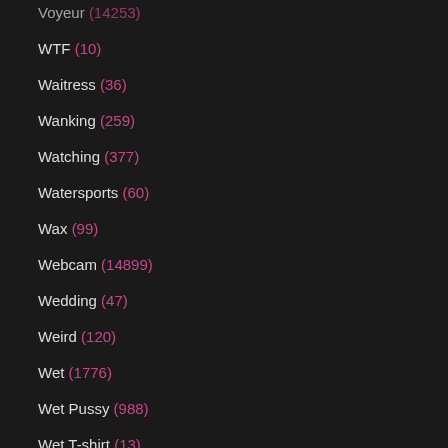Voyeur (14253)
WTF (10)
Waitress (36)
Wanking (259)
Watching (377)
Watersports (60)
Wax (99)
Webcam (14899)
Wedding (47)
Weird (120)
Wet (1776)
Wet Pussy (988)
Wet T-shirt (13)
Whaletail (6)
Whip (410)